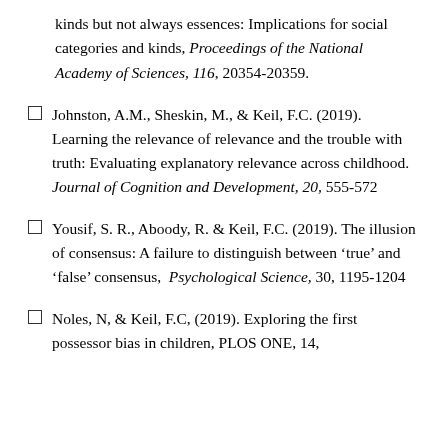kinds but not always essences: Implications for social categories and kinds, Proceedings of the National Academy of Sciences, 116, 20354-20359.
Johnston, A.M., Sheskin, M., & Keil, F.C. (2019). Learning the relevance of relevance and the trouble with truth: Evaluating explanatory relevance across childhood. Journal of Cognition and Development, 20, 555-572
Yousif, S. R., Aboody, R. & Keil, F.C. (2019). The illusion of consensus: A failure to distinguish between 'true' and 'false' consensus, Psychological Science, 30, 1195-1204
Noles, N, & Keil, F.C, (2019). Exploring the first possessor bias in children, PLOS ONE, 14,